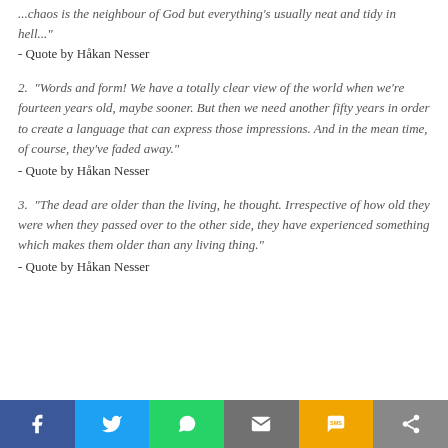"...chaos is the neighbour of God but everything's usually neat and tidy in hell..."
- Quote by Håkan Nesser
2. "Words and form! We have a totally clear view of the world when we're fourteen years old, maybe sooner. But then we need another fifty years in order to create a language that can express those impressions. And in the mean time, of course, they've faded away."
- Quote by Håkan Nesser
3. "The dead are older than the living, he thought. Irrespective of how old they were when they passed over to the other side, they have experienced something which makes them older than any living thing."
- Quote by Håkan Nesser